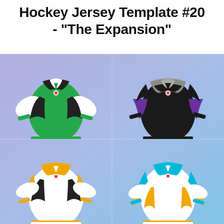Hockey Jersey Template #20 - "The Expansion"
[Figure (illustration): Four hockey jersey mockups arranged in a 2x2 grid on a blue-to-lavender gradient background. Top-left: green jersey with white sleeves and black accents. Top-right: black jersey with grey shoulders and purple accents. Bottom-left: white jersey with gold/yellow and black accents. Bottom-right: white jersey with cyan/light blue and gold/yellow accents.]